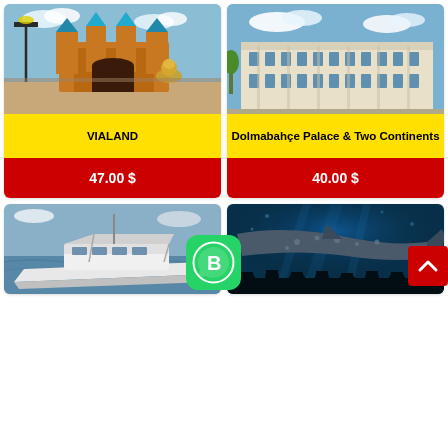[Figure (photo): Vialand theme park with colorful castle facades and a golden lion statue]
VIALAND
47.00 $
[Figure (photo): Dolmabahce Palace exterior, classical European-Ottoman architecture]
Dolmabahçe Palace & Two Continents
40.00 $
[Figure (photo): White luxury yacht on the water]
[Figure (photo): Whale shark in an aquarium with visitors silhouetted below]